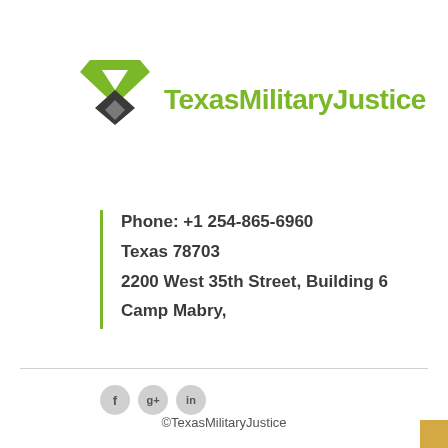[Figure (logo): TexasMilitaryJustice logo with green chevron/arrow icon and green bold text]
Phone: +1 254-865-6960
Texas 78703
2200 West 35th Street, Building 6
Camp Mabry,
[Figure (illustration): Social media icons: Facebook (f), Google+ (g+), LinkedIn (in) in circular grey buttons]
©TexasMilitaryJustice